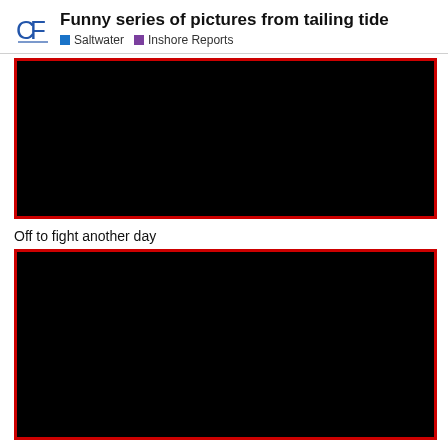Funny series of pictures from tailing tide | Saltwater | Inshore Reports
[Figure (photo): Dark/black photograph with red border, first in a series from tailing tide]
Off to fight another day
[Figure (photo): Dark/black photograph with red border, second in a series from tailing tide]